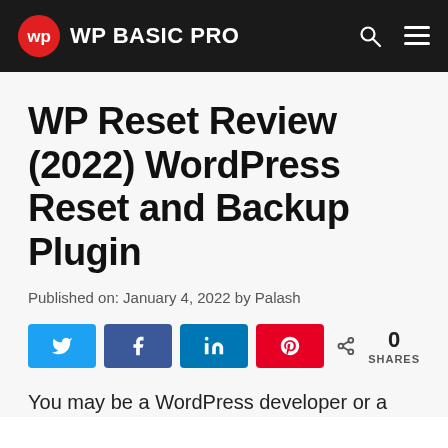WP BASIC PRO
WP Reset Review (2022) WordPress Reset and Backup Plugin
Published on: January 4, 2022 by Palash
[Figure (infographic): Social share buttons: Twitter, Facebook, LinkedIn, Pinterest. Share count: 0 SHARES]
You may be a WordPress developer or a